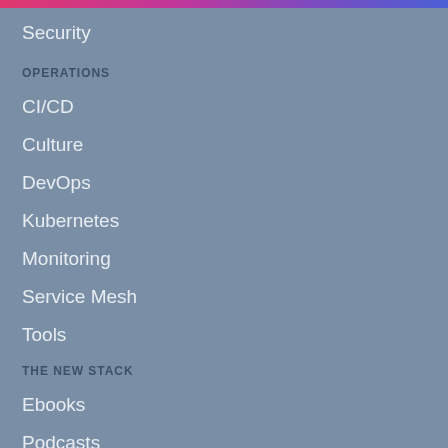Security
OPERATIONS
CI/CD
Culture
DevOps
Kubernetes
Monitoring
Service Mesh
Tools
THE NEW STACK
Ebooks
Podcasts